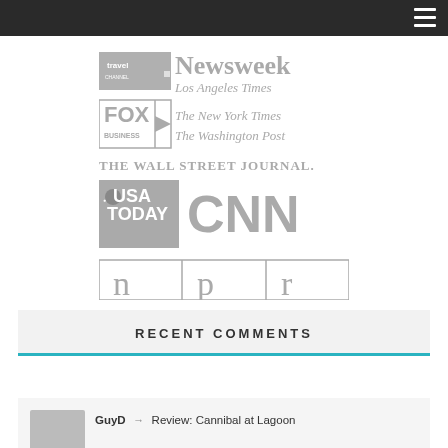Navigation bar with hamburger menu
[Figure (logo): Collection of media outlet logos in gray: Travel Channel, Newsweek, Los Angeles Times, Fox Business, The New York Times, The Washington Post, The Wall Street Journal, USA Today, CNN, NPR]
RECENT COMMENTS
GuyD → Review: Cannibal at Lagoon